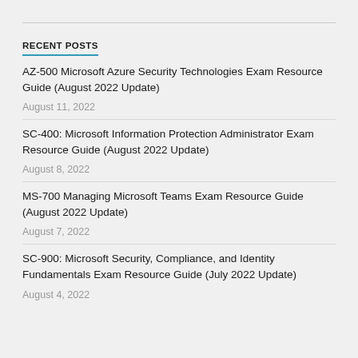RECENT POSTS
AZ-500 Microsoft Azure Security Technologies Exam Resource Guide (August 2022 Update)
August 11, 2022
SC-400: Microsoft Information Protection Administrator Exam Resource Guide (August 2022 Update)
August 8, 2022
MS-700 Managing Microsoft Teams Exam Resource Guide (August 2022 Update)
August 7, 2022
SC-900: Microsoft Security, Compliance, and Identity Fundamentals Exam Resource Guide (July 2022 Update)
August 4, 2022